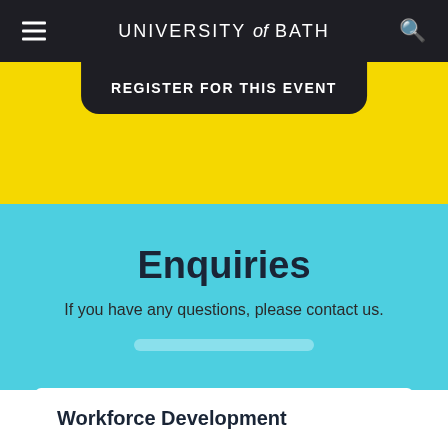UNIVERSITY of BATH
REGISTER FOR THIS EVENT
Enquiries
If you have any questions, please contact us.
Workforce Development